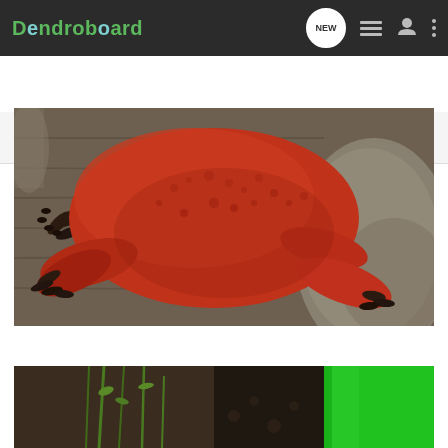Dendroboard — navigation bar with NEW, list, user, and menu icons
Search Community
[Figure (photo): Close-up photo of a red/orange strawberry poison dart frog (Oophaga pumilio) clinging to a weathered grey wooden surface and a rock, body shown from above.]
[Figure (photo): Partial photo at bottom showing a frog or terrain with bright green plant/container visible on the right side against a dark background.]